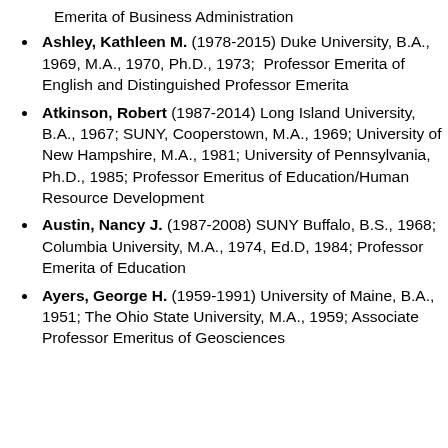Emerita of Business Administration
Ashley, Kathleen M. (1978-2015) Duke University, B.A., 1969, M.A., 1970, Ph.D., 1973;  Professor Emerita of English and Distinguished Professor Emerita
Atkinson, Robert (1987-2014) Long Island University, B.A., 1967; SUNY, Cooperstown, M.A., 1969; University of New Hampshire, M.A., 1981; University of Pennsylvania, Ph.D., 1985; Professor Emeritus of Education/Human Resource Development
Austin, Nancy J. (1987-2008) SUNY Buffalo, B.S., 1968; Columbia University, M.A., 1974, Ed.D, 1984; Professor Emerita of Education
Ayers, George H. (1959-1991) University of Maine, B.A., 1951; The Ohio State University, M.A., 1959; Associate Professor Emeritus of Geosciences